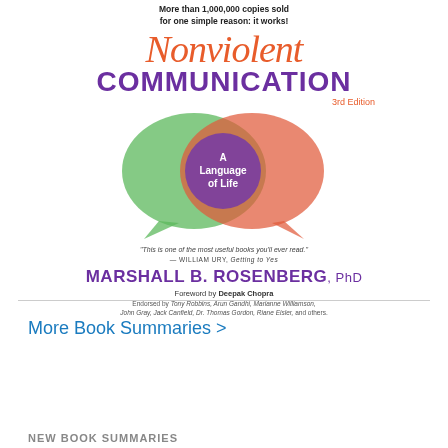[Figure (illustration): Book cover of Nonviolent Communication 3rd Edition by Marshall B. Rosenberg PhD, featuring the title in orange italic and purple bold, two overlapping speech bubbles (green and red/orange) with a purple circle in the center reading 'A Language of Life', tagline about 1,000,000 copies sold, a quote, author name, foreword by Deepak Chopra, and endorsements.]
More Book Summaries >
NEW BOOK SUMMARIES